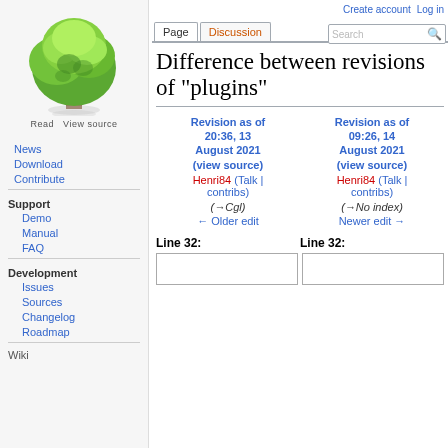Create account  Log in
[Figure (illustration): Wikipedia-style tree logo (green leafy tree with brown trunk)]
Read  View source
Page  Discussion
Difference between revisions of "plugins"
News
Download
Contribute
Support
Demo
Manual
FAQ
Development
Issues
Sources
Changelog
Roadmap
Wiki
| Revision as of 20:36, 13 August 2021 (view source) | Revision as of 09:26, 14 August 2021 (view source) |
| --- | --- |
| Henri84 (Talk | contribs) | Henri84 (Talk | contribs) |
| (→Cgl) | (→No index) |
| ← Older edit | Newer edit → |
Line 32:
Line 32: